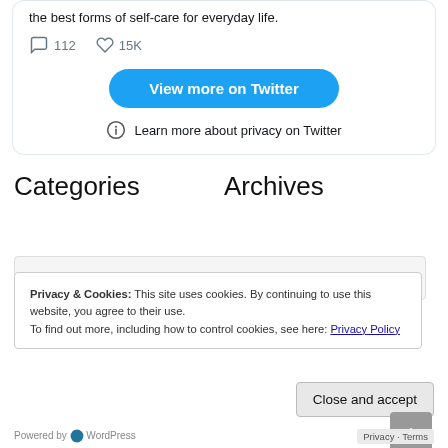the best forms of self-care for everyday life.
112   15K
View more on Twitter
Learn more about privacy on Twitter
Categories
Archives
Privacy & Cookies: This site uses cookies. By continuing to use this website, you agree to their use. To find out more, including how to control cookies, see here: Privacy Policy
Close and accept
Privacy · Terms
Powered by WordPress